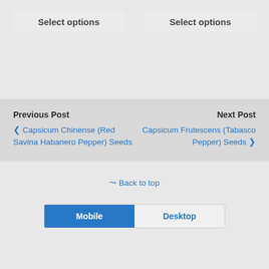Select options
Select options
Previous Post
‹ Capsicum Chinense (Red Savina Habanero Pepper) Seeds
Next Post
Capsicum Frutescens (Tabasco Pepper) Seeds ›
⇈ Back to top
Mobile
Desktop